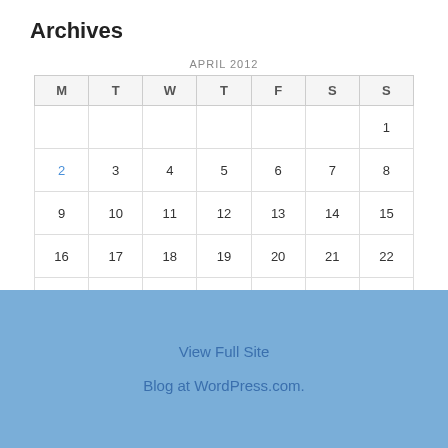Archives
| M | T | W | T | F | S | S |
| --- | --- | --- | --- | --- | --- | --- |
|  |  |  |  |  |  | 1 |
| 2 | 3 | 4 | 5 | 6 | 7 | 8 |
| 9 | 10 | 11 | 12 | 13 | 14 | 15 |
| 16 | 17 | 18 | 19 | 20 | 21 | 22 |
| 23 | 24 | 25 | 26 | 27 | 28 | 29 |
| 30 |  |  |  |  |  |  |
« Feb   May »
View Full Site
Blog at WordPress.com.